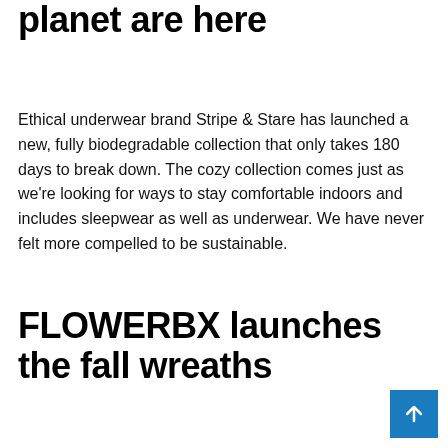planet are here
Ethical underwear brand Stripe & Stare has launched a new, fully biodegradable collection that only takes 180 days to break down. The cozy collection comes just as we're looking for ways to stay comfortable indoors and includes sleepwear as well as underwear. We have never felt more compelled to be sustainable.
FLOWERBX launches the fall wreaths
[Figure (other): Blue back-to-top button with white upward arrow in bottom right corner]